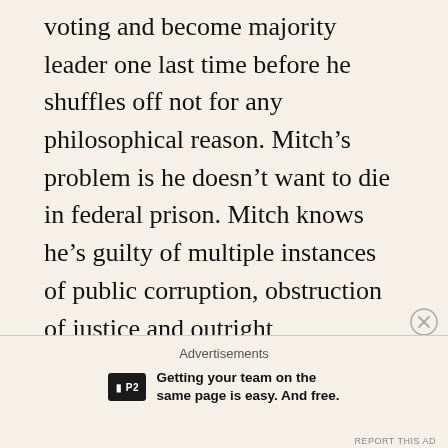voting and become majority leader one last time before he shuffles off not for any philosophical reason. Mitch’s problem is he doesn’t want to die in federal prison. Mitch knows he’s guilty of multiple instances of public corruption, obstruction of justice and outright TREASON. He’s always counted on getting away with it all — as white, Christian men of privilege always have in America.
Advertisements
[Figure (logo): P2 logo ad: dark square with P2 text, tagline 'Getting your team on the same page is easy. And free.']